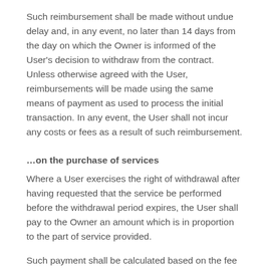Such reimbursement shall be made without undue delay and, in any event, no later than 14 days from the day on which the Owner is informed of the User's decision to withdraw from the contract. Unless otherwise agreed with the User, reimbursements will be made using the same means of payment as used to process the initial transaction. In any event, the User shall not incur any costs or fees as a result of such reimbursement.
…on the purchase of services
Where a User exercises the right of withdrawal after having requested that the service be performed before the withdrawal period expires, the User shall pay to the Owner an amount which is in proportion to the part of service provided.
Such payment shall be calculated based on the fee contractually agreed upon, and be proportional to the part of service provided until the time the User withdraws, compared with the full coverage of the contract.